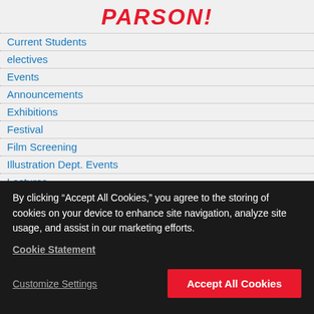PARSON!
Current Students
electives
Events
Announcements
Exhibitions
Festival
Film Screening
Illustration Dept. Events
Lectures
Momentum Alumni Lectures
Presentation
Symposia
By clicking “Accept All Cookies,” you agree to the storing of cookies on your device to enhance site navigation, analyze site usage, and assist in our marketing efforts.
Cookie Statement
Customize Settings
Accept All Cookies